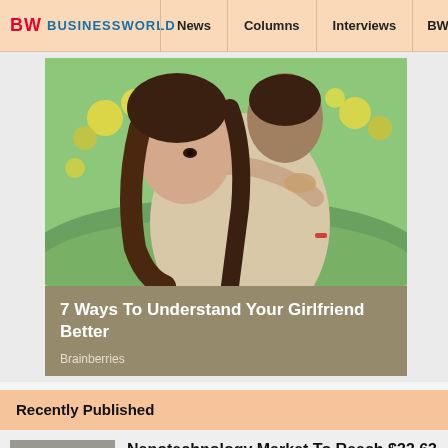BW BUSINESSWORLD | News | Columns | Interviews | BW
[Figure (photo): A couple embracing outdoors with yellow flowers in the background. Woman with long brown hair looking at camera over man's shoulder.]
7 Ways To Understand Your Girlfriend Better
Brainberries
Recently Published
[Figure (photo): Close-up photo of hands holding small electronic/nanotechnology components]
Nanotechnology Market To Reach $33.63 Bn By 2030: Report